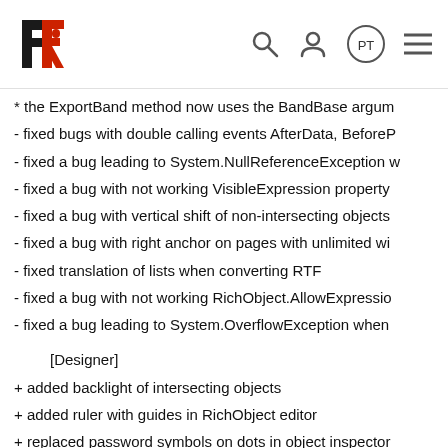FR [logo] [search icon] [user icon] PT [menu icon]
* the ExportBand method now uses the BandBase argum
- fixed bugs with double calling events AfterData, BeforeP
- fixed a bug leading to System.NullReferenceException w
- fixed a bug with not working VisibleExpression property
- fixed a bug with vertical shift of non-intersecting objects
- fixed a bug with right anchor on pages with unlimited wi
- fixed translation of lists when converting RTF
- fixed a bug with not working RichObject.AllowExpressio
- fixed a bug leading to System.OverflowException when
[Designer]
+ added backlight of intersecting objects
+ added ruler with guides in RichObject editor
+ replaced password symbols on dots in object inspector
+ added warning about possible stack overflow when putt
- removed error message when text of barcode consist ex
- fixed a bug with disable hot keys option
- fixed dropdown menu when click on LineStyle and LineW
- fixed a bug with viewing data in designer